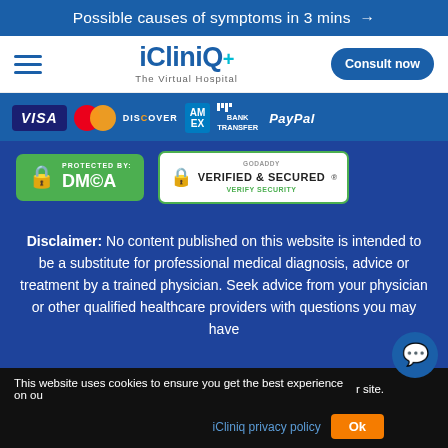Possible causes of symptoms in 3 mins →
[Figure (logo): iCliniq+ The Virtual Hospital logo with hamburger menu and Consult now button]
[Figure (infographic): Payment method logos: VISA, Mastercard, DISCOVER, AMEX, BANK TRANSFER, PayPal]
[Figure (infographic): DMCA Protected badge and GoDaddy Verified & Secured badge]
Disclaimer: No content published on this website is intended to be a substitute for professional medical diagnosis, advice or treatment by a trained physician. Seek advice from your physician or other qualified healthcare providers with questions you may have
This website uses cookies to ensure you get the best experience on our site. iCliniq privacy policy  Ok